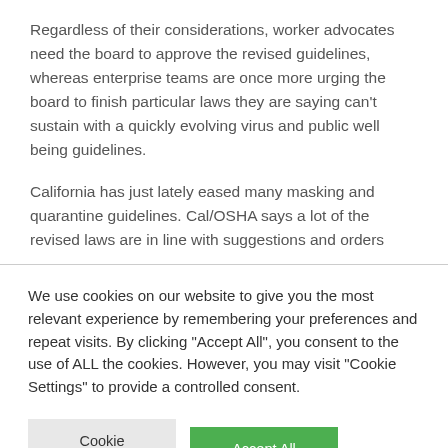Regardless of their considerations, worker advocates need the board to approve the revised guidelines, whereas enterprise teams are once more urging the board to finish particular laws they are saying can't sustain with a quickly evolving virus and public well being guidelines.
California has just lately eased many masking and quarantine guidelines. Cal/OSHA says a lot of the revised laws are in line with suggestions and orders
We use cookies on our website to give you the most relevant experience by remembering your preferences and repeat visits. By clicking "Accept All", you consent to the use of ALL the cookies. However, you may visit "Cookie Settings" to provide a controlled consent.